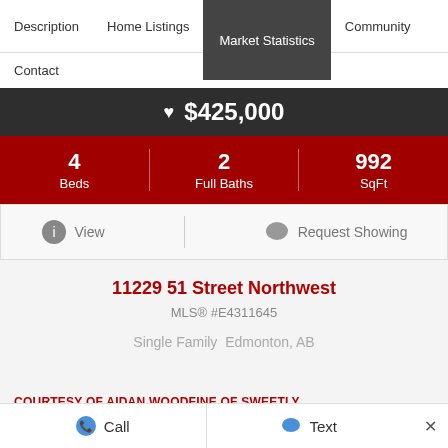Description | Home Listings | Market Statistics | Community
Contact
♥ $425,000
| Beds | Full Baths | SqFt |
| --- | --- | --- |
| 4 | 2 | 992 |
View | Request Showing
11229 51 Street Northwest
MLS® #E4311645
Single Family  Edmonton, AB
COURTESY OF AIDAN WOODFINE OF SWEETLY
Call | Text | ×